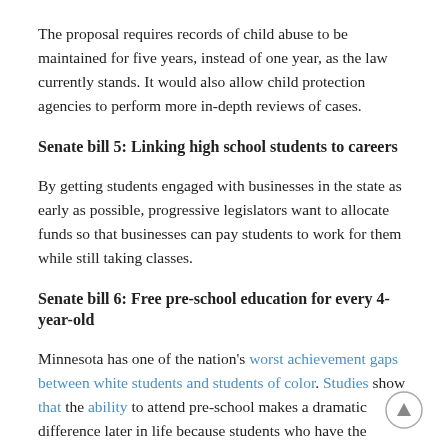The proposal requires records of child abuse to be maintained for five years, instead of one year, as the law currently stands. It would also allow child protection agencies to perform more in-depth reviews of cases.
Senate bill 5: Linking high school students to careers
By getting students engaged with businesses in the state as early as possible, progressive legislators want to allocate funds so that businesses can pay students to work for them while still taking classes.
Senate bill 6: Free pre-school education for every 4-year-old
Minnesota has one of the nation's worst achievement gaps between white students and students of color. Studies show that the ability to attend pre-school makes a dramatic difference later in life because students who have the advantage of learning before kindergarten are better prepared